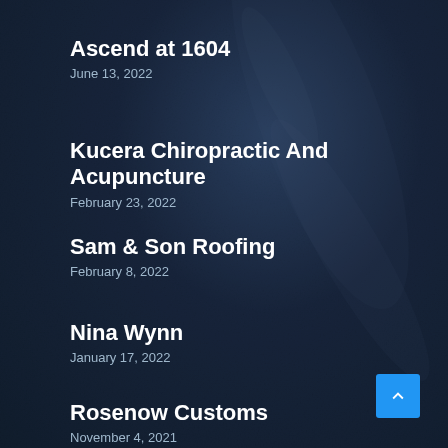Ascend at 1604
June 13, 2022
Kucera Chiropractic And Acupuncture
February 23, 2022
Sam & Son Roofing
February 8, 2022
Nina Wynn
January 17, 2022
Rosenow Customs
November 4, 2021